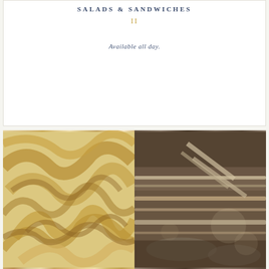SALADS & SANDWICHES
II
Available all day.
[Figure (photo): Left: close-up of toasted meringue swirls in warm golden-brown tones. Right: sepia-toned photo of what appears to be a buffet or food service display with metal serving dishes and equipment.]